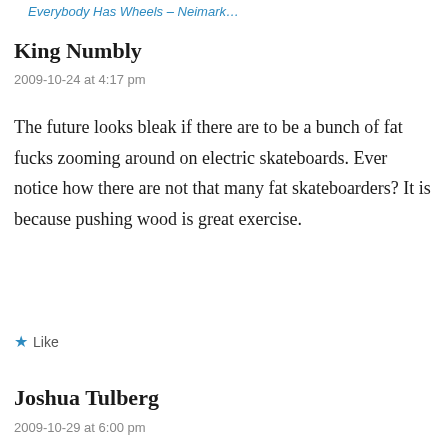Everybody Has Wheels – Neimark…
King Numbly
2009-10-24 at 4:17 pm
The future looks bleak if there are to be a bunch of fat fucks zooming around on electric skateboards. Ever notice how there are not that many fat skateboarders? It is because pushing wood is great exercise.
★ Like
Joshua Tulberg
2009-10-29 at 6:00 pm